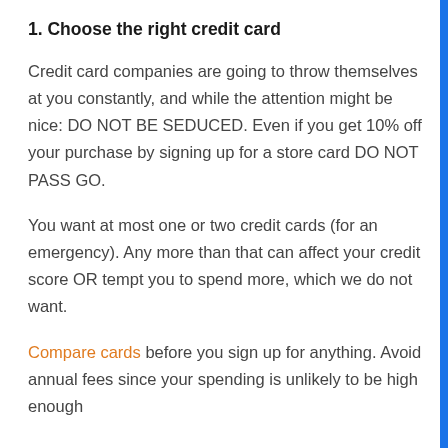1. Choose the right credit card
Credit card companies are going to throw themselves at you constantly, and while the attention might be nice: DO NOT BE SEDUCED. Even if you get 10% off your purchase by signing up for a store card DO NOT PASS GO.
You want at most one or two credit cards (for an emergency). Any more than that can affect your credit score OR tempt you to spend more, which we do not want.
Compare cards before you sign up for anything. Avoid annual fees since your spending is unlikely to be high enough